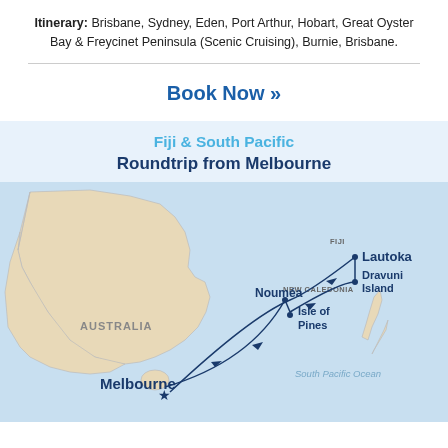Itinerary: Brisbane, Sydney, Eden, Port Arthur, Hobart, Great Oyster Bay & Freycinet Peninsula (Scenic Cruising), Burnie, Brisbane.
Book Now »
Fiji & South Pacific Roundtrip from Melbourne
[Figure (map): Cruise route map showing Australia, New Caledonia, Fiji and South Pacific Ocean with route lines connecting Melbourne, Nouméa, Isle of Pines, Dravuni Island, Lautoka, and back to Melbourne.]